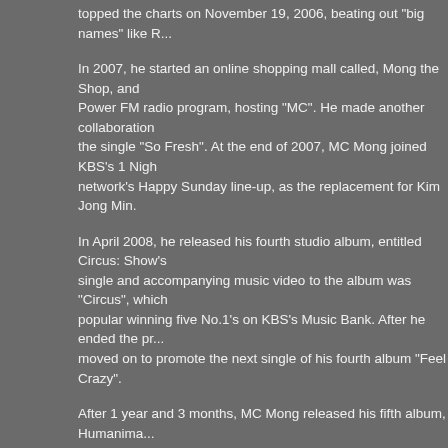topped the charts on November 19, 2006, beating out "big names" like R...
In 2007, he started an online shopping mall called, Mong the Shop, and Power FM radio program, hosting "MC". He made another collaboration with the single "So Fresh". At the end of 2007, MC Mong joined KBS's 1 Night network's Happy Sunday line-up, as the replacement for Kim Jong Min.
In April 2008, he released his fourth studio album, entitled Circus: Show's single and accompanying music video to the album was "Circus", which popular winning five No.1's on KBS's Music Bank. After he ended the pr... moved on to promote the next single of his fourth album "Feel Crazy".
After 1 year and 3 months, MC Mong released his fifth album, Humanima... "human" and "animal". The first single of his fifth album is "Indian Boy" w... Geun (a.k.a. Jang Geun-ee), who also rapped in his fourth album single, singer, B.I., who has gained a lot of attention for his rapping skills at a yo... of Humanimal reached over 55,000 copies and the album is expected to albums, which all have passed the 100,000 sales mark. Like his past alb... from his fifth album are also doing quite well on the music charts. The fo... You're in Heaven", was written by MC Mong and dedicated to the late ac... was unable to attend her funeral due to the filming of Happy Sunday: 1 N... Mong said that it was a promise that he had made to Choi Jin Shil. He o... my albums and knew all the track listings. She really cared for me. W...